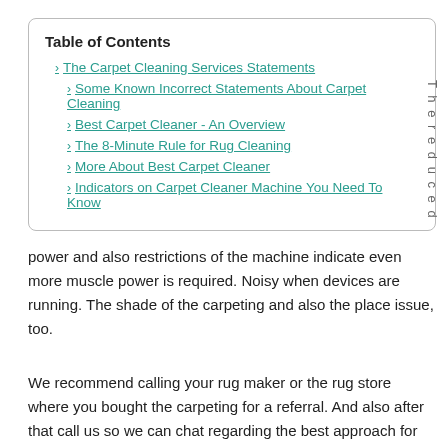| The Carpet Cleaning Services Statements |
| Some Known Incorrect Statements About Carpet Cleaning |
| Best Carpet Cleaner - An Overview |
| The 8-Minute Rule for Rug Cleaning |
| More About Best Carpet Cleaner |
| Indicators on Carpet Cleaner Machine You Need To Know |
power and also restrictions of the machine indicate even more muscle power is required. Noisy when devices are running. The shade of the carpeting and also the place issue, too.
We recommend calling your rug maker or the rug store where you bought the carpeting for a referral. And also after that call us so we can chat regarding the best approach for cleaning your floors!